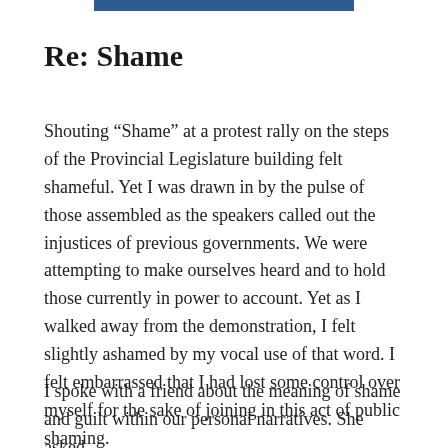Re: Shame
Shouting “Shame” at a protest rally on the steps of the Provincial Legislature building felt shameful. Yet I was drawn in by the pulse of those assembled as the speakers called out the injustices of previous governments. We were attempting to make ourselves heard and to hold those currently in power to account. Yet as I walked away from the demonstration, I felt slightly ashamed by my vocal use of that word. I felt embarrassed that I had lost some control over myself for the sake of joining in this act of public shaming.
I spoke with a friend about the meaning of shame and guilt within our personal narratives. She asked